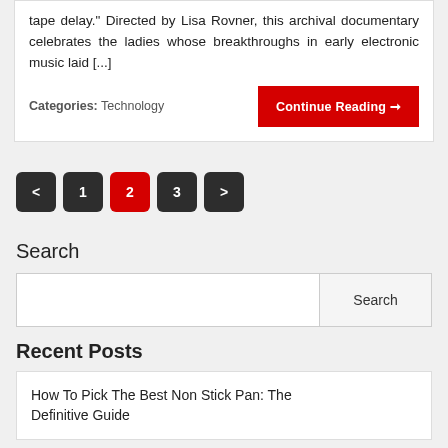tape delay." Directed by Lisa Rovner, this archival documentary celebrates the ladies whose breakthroughs in early electronic music laid [...]
Categories: Technology
Continue Reading →
< 1 2 3 >
Search
Search
Recent Posts
How To Pick The Best Non Stick Pan: The Definitive Guide